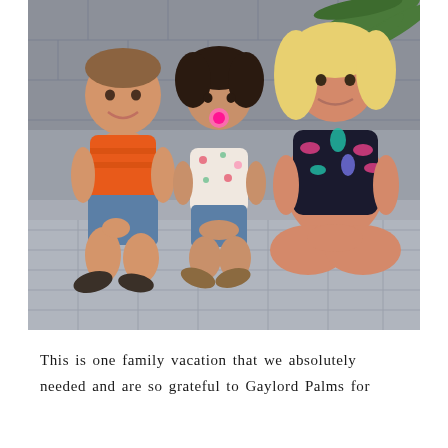[Figure (photo): Three children sitting on stone/cobblestone pavement in front of a stone wall. Left: a young boy wearing an orange striped tank top and denim shorts with dark shoes. Middle: a toddler girl in a white floral outfit with a pink pacifier, wearing sandals. Right: an older girl with long blonde hair wearing a colorful tropical-print swimsuit, sitting cross-legged. A palm leaf is visible in the upper right background.]
This is one family vacation that we absolutely needed and are so grateful to Gaylord Palms for